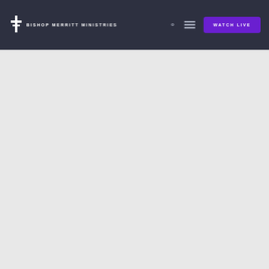BISHOP MERRITT MINISTRIES — WATCH LIVE
[Figure (screenshot): Light gray empty main content area below the navigation bar]